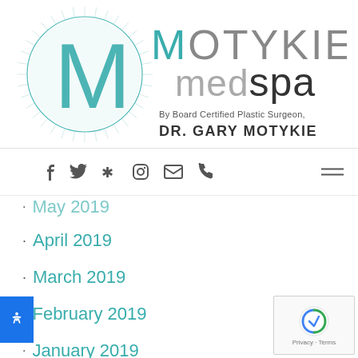[Figure (logo): Motykie MedSpa logo with circular decorative element and 'M' letter, tagline 'By Board Certified Plastic Surgeon, DR. GARY MOTYKIE']
[Figure (infographic): Navigation bar with accessibility button, social media icons (Facebook, Twitter, Yelp, Instagram, Email, Phone), and hamburger menu]
May 2019
April 2019
March 2019
February 2019
January 2019
December 2018
October 2018